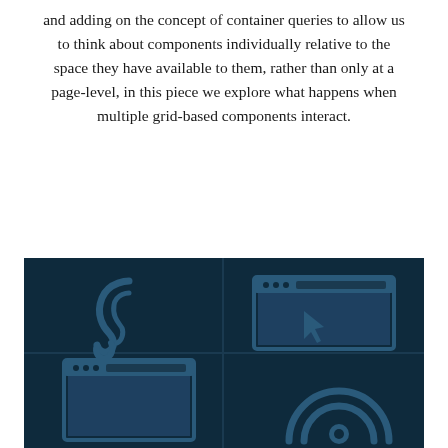and adding on the concept of container queries to allow us to think about components individually relative to the space they have available to them, rather than only at a page-level, in this piece we explore what happens when multiple grid-based components interact.
[Figure (illustration): A 2x2 grid of dark navy blue panels, each containing a lighter blue icon. Top-left: an ear icon. Top-right: a browser window with a cursor/arrow icon. Bottom-left: a browser window icon (partially visible). Bottom-right: a semicircle/arc icon (partially visible).]